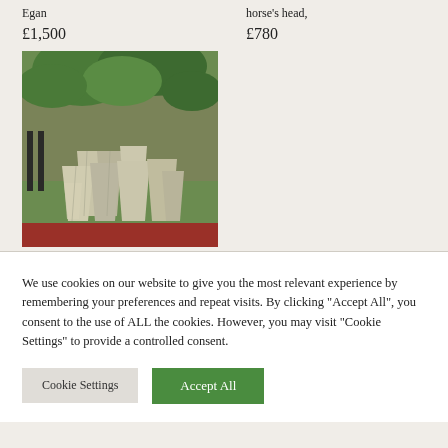Egan
£1,500
horse's head,
£780
[Figure (photo): A collection of stone or marble decorative garden planters/troughs stacked together outdoors, with ivy-covered brick wall in background]
We use cookies on our website to give you the most relevant experience by remembering your preferences and repeat visits. By clicking "Accept All", you consent to the use of ALL the cookies. However, you may visit "Cookie Settings" to provide a controlled consent.